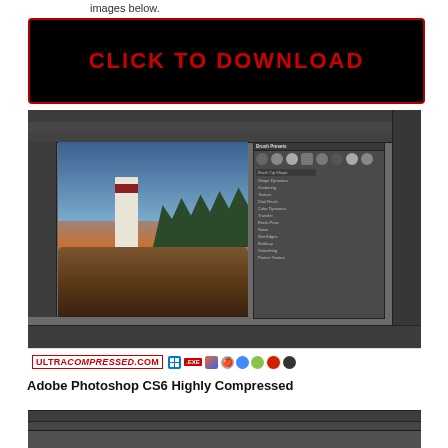images below.
[Figure (screenshot): Black button with red border and red text reading CLICK TO DOWNLOAD]
[Figure (screenshot): Adobe Photoshop CS6 interface screenshot showing lighthouse photo with brush presets panel open, and UltraCompressed.com banner at bottom with platform icons]
Adobe Photoshop CS6 Highly Compressed
[Figure (screenshot): Second Adobe Photoshop CS6 interface screenshot, partially visible at bottom of page]